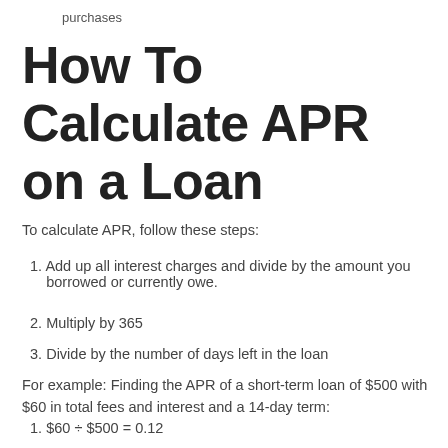purchases
How To Calculate APR on a Loan
To calculate APR, follow these steps:
1. Add up all interest charges and divide by the amount you borrowed or currently owe.
2. Multiply by 365
3. Divide by the number of days left in the loan
For example: Finding the APR of a short-term loan of $500 with $60 in total fees and interest and a 14-day term:
1. $60 ÷ $500 = 0.12
2. 0.12 x 365 = 43.8